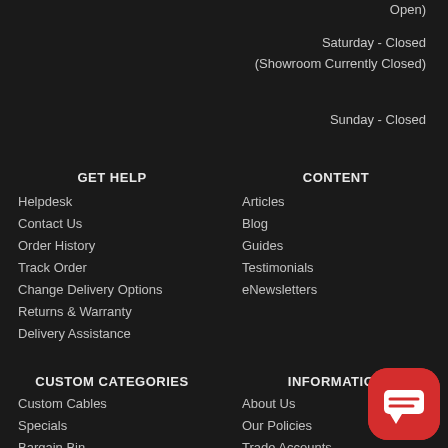Open)
Saturday - Closed
(Showroom Currently Closed)
Sunday - Closed
GET HELP
CONTENT
Helpdesk
Articles
Contact Us
Blog
Order History
Guides
Track Order
Testimonials
Change Delivery Options
eNewsletters
Returns & Warranty
Delivery Assistance
CUSTOM CATEGORIES
INFORMATION
Custom Cables
About Us
Specials
Our Policies
Bargain Bin
Trade Accounts
Gift Vouchers
Education Accounts